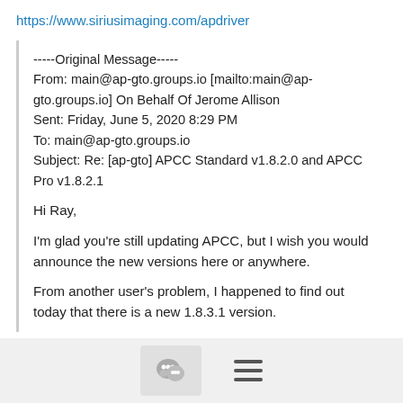https://www.siriusimaging.com/apdriver
-----Original Message-----
From: main@ap-gto.groups.io [mailto:main@ap-gto.groups.io] On Behalf Of Jerome Allison
Sent: Friday, June 5, 2020 8:29 PM
To: main@ap-gto.groups.io
Subject: Re: [ap-gto] APCC Standard v1.8.2.0 and APCC Pro v1.8.2.1
Hi Ray,
I'm glad you're still updating APCC, but I wish you would announce the new versions here or anywhere.
From another user's problem, I happened to find out today that there is a new 1.8.3.1 version.
[Figure (screenshot): Footer bar with chat bubble icon button and hamburger menu icon]